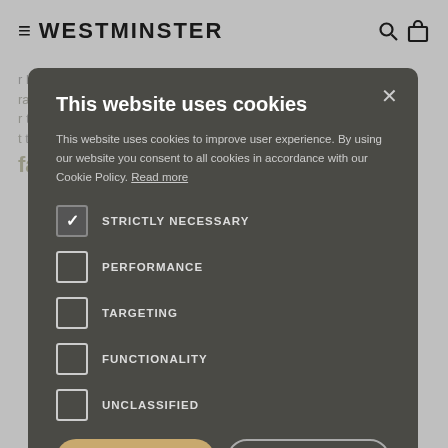WESTMINSTER
personnes qui raisent dans la dol att... ainsi que les bouteaux, les r trebande. Leur t tre ajusté faire aux différentes menaces
[Figure (screenshot): Cookie consent modal dialog on Westminster website with options: Strictly Necessary (checked), Performance, Targeting, Functionality, Unclassified, with Accept All and Decline All buttons]
Contactez-nous pour nous faire part de vos besoins